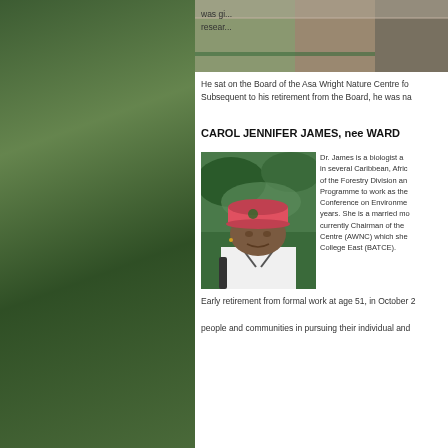[Figure (photo): Top strip photo showing people at a table outdoors]
was gi... research...
He sat on the Board of the Asa Wright Nature Centre for... Subsequent to his retirement from the Board, he was na...
CAROL JENNIFER JAMES, nee WARD
[Figure (photo): Portrait photo of Carol Jennifer James wearing a pink cap and white shirt outdoors]
Dr. James is a biologist a... in several Caribbean, Afric... of the Forestry Division an... Programme to work as the... Conference on Environme... years. She is a married mo... currently Chairman of the ... Centre (AWNC) which she... College East (BATCE).
Early retirement from formal work at age 51, in October 2... people and communities in pursuing their individual and...